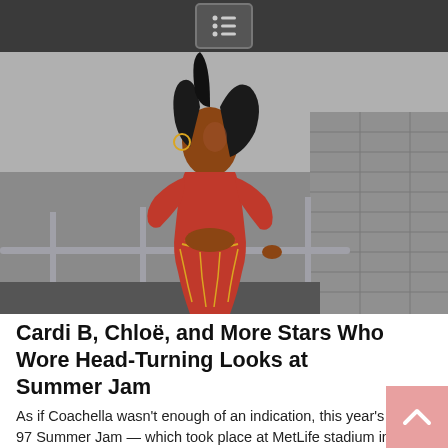Menu / navigation icon
[Figure (photo): A woman wearing a red lace cutout outfit with gold chain accents, posed against a stadium railing and concrete block wall background.]
Cardi B, Chloë, and More Stars Who Wore Head-Turning Looks at Summer Jam
As if Coachella wasn't enough of an indication, this year's Hot 97 Summer Jam — which took place at MetLife stadium in East Rutherford, NJ